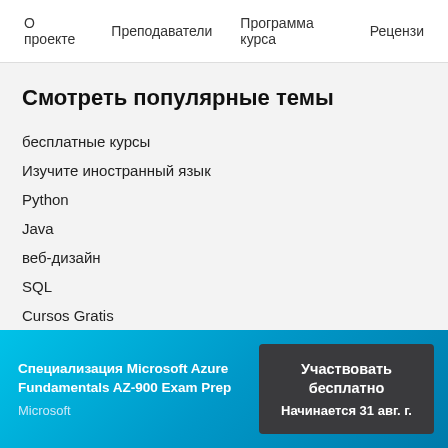О проекте   Преподаватели   Программа курса   Рецензи
Смотреть популярные темы
бесплатные курсы
Изучите иностранный язык
Python
Java
веб-дизайн
SQL
Cursos Gratis
Microsoft Excel
Управление проектами
Специализация Microsoft Azure Fundamentals AZ-900 Exam Prep
Microsoft
Участвовать бесплатно
Начинается 31 авг. г.